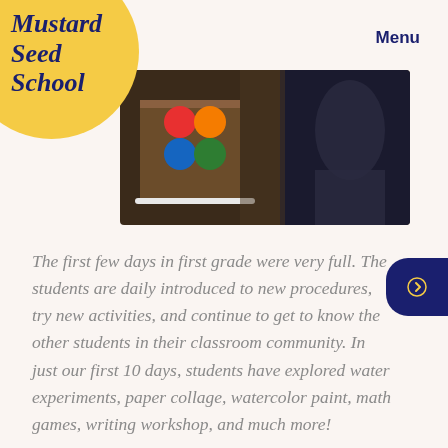Mustard Seed School
Menu
[Figure (photo): Classroom photo showing colorful balls on a wooden structure with a student in the background]
The first few days in first grade were very full. The students are daily introduced to new procedures, try new activities, and continue to get to know the other students in their classroom community. In just our first 10 days, students have explored water experiments, paper collage, watercolor paint, math games, writing workshop, and much more!